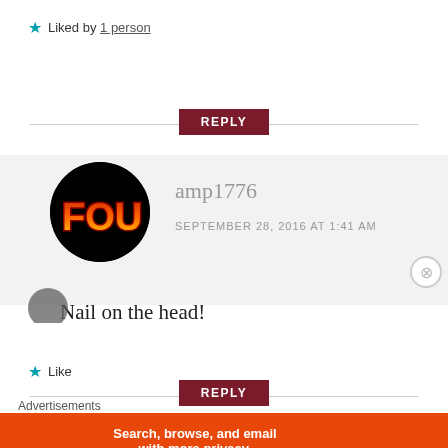★ Liked by 1 person
[Figure (other): Dark red REPLY button centered on horizontal divider line]
[Figure (illustration): User avatar: black circle with FOU text in red/orange gradient]
amp1776
SEPTEMBER 28, 2016 AT 1:41 AM
Nail on the head!
★ Like
[Figure (other): Dark red REPLY button centered on horizontal divider line]
[Figure (other): Partial avatar visible at bottom]
Advertisements
[Figure (other): DuckDuckGo advertisement banner: Search, browse, and email with more privacy. All in One Free App]